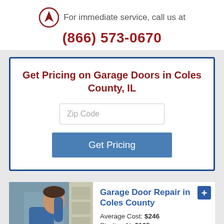For immediate service, call us at
(866) 573-0670
Get Pricing on Garage Doors in Coles County, IL
Zip Code
Get Pricing
Garage Door Repair in Coles County
Average Cost: $246
Starting At: $105